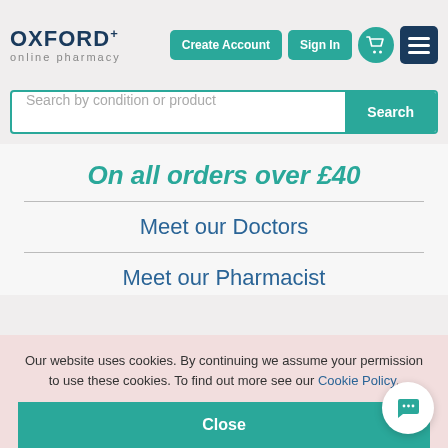[Figure (logo): Oxford+ online pharmacy logo with teal navigation buttons (Create Account, Sign In, cart icon, menu icon)]
[Figure (screenshot): Search bar with placeholder text 'Search by condition or product' and teal Search button]
On all orders over £40
Meet our Doctors
Meet our Pharmacist
Our website uses cookies. By continuing we assume your permission to use these cookies. To find out more see our Cookie Policy.
Close